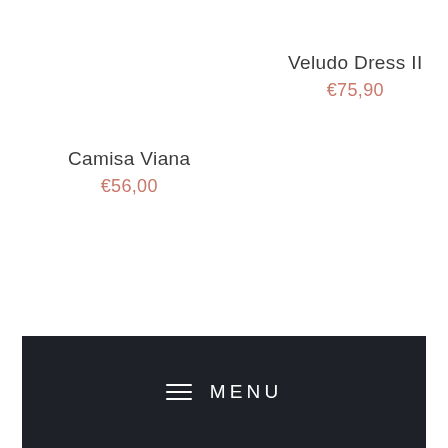Veludo Dress II
€75,90
Camisa Viana
€56,00
≡ MENU